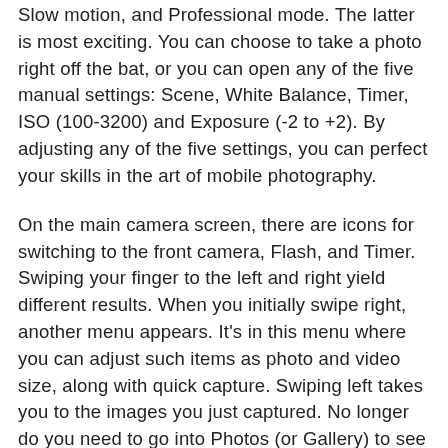Slow motion, and Professional mode. The latter is most exciting. You can choose to take a photo right off the bat, or you can open any of the five manual settings: Scene, White Balance, Timer, ISO (100-3200) and Exposure (-2 to +2). By adjusting any of the five settings, you can perfect your skills in the art of mobile photography.
On the main camera screen, there are icons for switching to the front camera, Flash, and Timer. Swiping your finger to the left and right yield different results. When you initially swipe right, another menu appears. It's in this menu where you can adjust such items as photo and video size, along with quick capture. Swiping left takes you to the images you just captured. No longer do you need to go into Photos (or Gallery) to see them. If you don't like the picture the camera just captured, you can modify it or simply delete it. It's a time saver for sure.